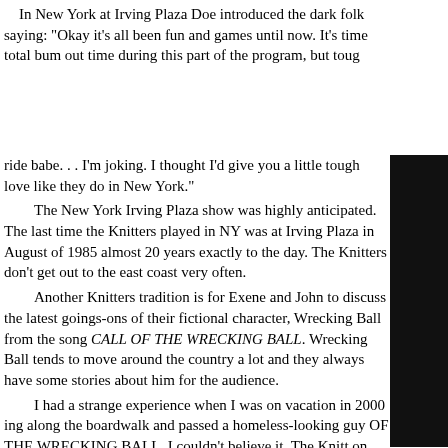In New York at Irving Plaza Doe introduced the dark folk saying: "Okay it's all been fun and games until now. It's time total bum out time during this part of the program, but toug
[Figure (photo): Dark/black photograph of a person, partially visible on the right side of the page]
ride babe. . . I'm joking. I thought I'd give you a little tough love like they do in New York."
    The New York Irving Plaza show was highly anticipated. The last time the Knitters played in NY was at Irving Plaza in August of 1985 almost 20 years exactly to the day. The Knitters don't get out to the east coast very often.
    Another Knitters tradition is for Exene and John to discuss the latest goings-ons of their fictional character, Wrecking Ball from the song CALL OF THE WRECKING BALL. Wrecking Ball tends to move around the country a lot and they always have some stories about him for the audience.
    I had a strange experience when I was on vacation in 2000 ing along the boardwalk and passed a homeless-looking guy OF THE WRECKING BALL. I couldn't believe it, The Knitt on the southern east coast. Either he was a fan or could this k